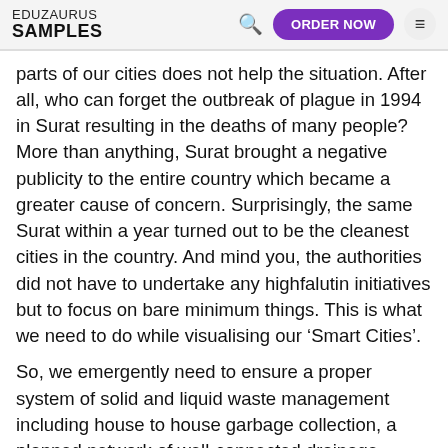EDUZAURUS SAMPLES   🔍   ORDER NOW   ≡
parts of our cities does not help the situation. After all, who can forget the outbreak of plague in 1994 in Surat resulting in the deaths of many people? More than anything, Surat brought a negative publicity to the entire country which became a greater cause of concern. Surprisingly, the same Surat within a year turned out to be the cleanest cities in the country. And mind you, the authorities did not have to undertake any highfalutin initiatives but to focus on bare minimum things. This is what we need to do while visualising our 'Smart Cities'.
So, we emergently need to ensure a proper system of solid and liquid waste management including house to house garbage collection, a planned network of well-connected drainage system, availability of a network of paid and free public conveniences, arrangements of scientific slaughter